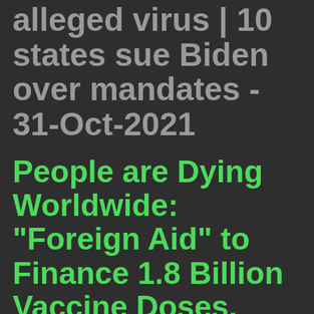alleged virus | 10 states sue Biden over mandates - 31-Oct-2021
People are Dying Worldwide: "Foreign Aid" to Finance 1.8 Billion Vaccine Doses. Western Governments, Billionaires and Big Pharma Come to the